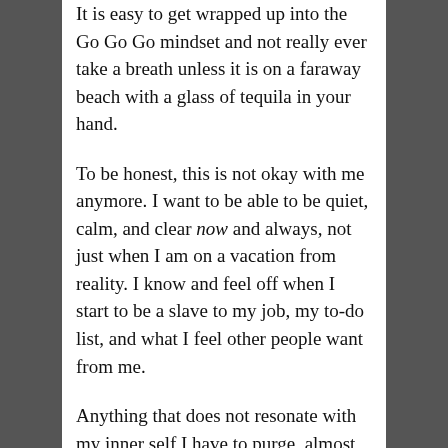It is easy to get wrapped up into the Go Go Go mindset and not really ever take a breath unless it is on a faraway beach with a glass of tequila in your hand.
To be honest, this is not okay with me anymore. I want to be able to be quiet, calm, and clear now and always, not just when I am on a vacation from reality. I know and feel off when I start to be a slave to my job, my to-do list, and what I feel other people want from me.
Anything that does not resonate with my inner self I have to purge, almost like I would when I purged food when I had an eating disorder. But this kind of purging is relieving, long-lasting, and does not cause depression like my eating disorder did,